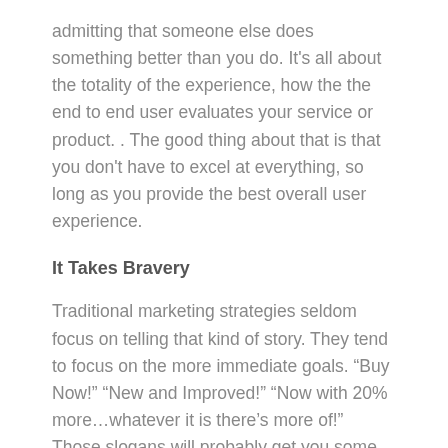admitting that someone else does something better than you do. It's all about the totality of the experience, how the the end to end user evaluates your service or product. . The good thing about that is that you don't have to excel at everything, so long as you provide the best overall user experience.
It Takes Bravery
Traditional marketing strategies seldom focus on telling that kind of story. They tend to focus on the more immediate goals. “Buy Now!” “New and Improved!” “Now with 20% more…whatever it is there’s more of!” Those slogans will probably get you some sales, sure, but there are other ways too, and in a world filled to the point of overflowing with “Buy Now!” marketing, how wonderful and refreshing to slow the pace down and come across to your future customers